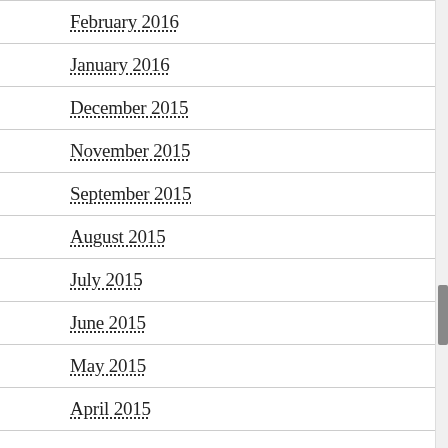February 2016
January 2016
December 2015
November 2015
September 2015
August 2015
July 2015
June 2015
May 2015
April 2015